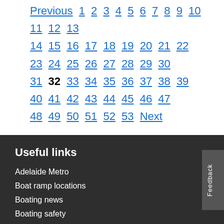Previous 1 2 3 4 5 6 7 8 9 10 11 12 13 14 15 16 17 18 19 20 21 22 23 24 25 26 27 28 29 30 31 32 33 34 35 36 37 38 39 40 41 42 43 44 45 46 47 48 49 50 51 52 53 Next
Useful links
Adelaide Metro
Boat ramp locations
Boating news
Boating safety
Careers
Change@SA
Cycle instead journey planner
Development applications
EzyPlates
Information and documents for contractors